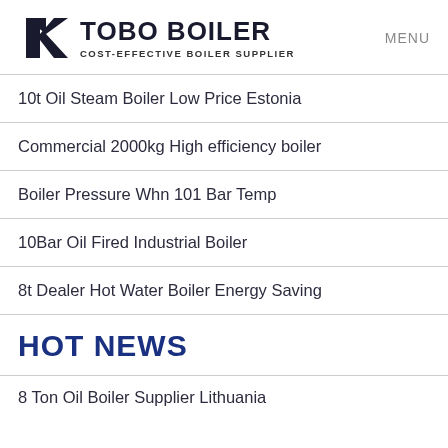TOBO BOILER — COST-EFFECTIVE BOILER SUPPLIER | MENU
10t Oil Steam Boiler Low Price Estonia
Commercial 2000kg High efficiency boiler
Boiler Pressure Whn 101 Bar Temp
10Bar Oil Fired Industrial Boiler
8t Dealer Hot Water Boiler Energy Saving
HOT NEWS
8 Ton Oil Boiler Supplier Lithuania